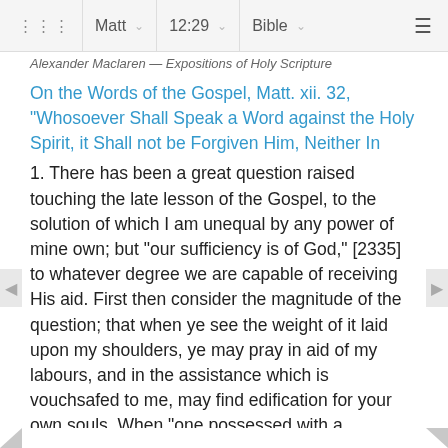Matt  12:29  Bible
Alexander Maclaren — Expositions of Holy Scripture
On the Words of the Gospel, Matt. xii. 32, "Whosoever Shall Speak a Word against the Holy Spirit, it Shall not be Forgiven Him, Neither In
1. There has been a great question raised touching the late lesson of the Gospel, to the solution of which I am unequal by any power of mine own; but "our sufficiency is of God," [2335] to whatever degree we are capable of receiving His aid. First then consider the magnitude of the question; that when ye see the weight of it laid upon my shoulders, ye may pray in aid of my labours, and in the assistance which is vouchsafed to me, may find edification for your own souls. When "one possessed with a …
Saint Augustine—sermons on selected lessons of the new testament